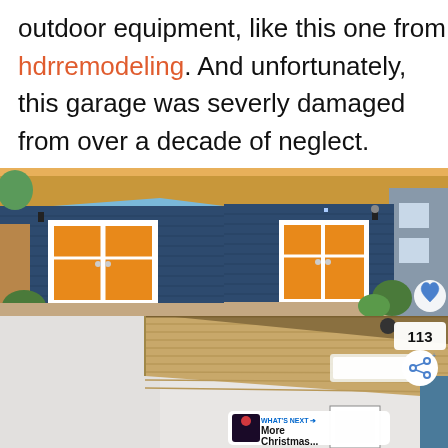outdoor equipment, like this one from hdrremodeling. And unfortunately, this garage was severly damaged from over a decade of neglect.
[Figure (photo): Two side-by-side photos of a modern blue garage/studio with wood roof overhang, white French doors, and an orange plant/greenery outside, photographed from slightly different angles.]
[Figure (photo): Interior photo of a renovated room with vaulted wood plank ceiling, exposed beam, recessed lighting panel, white walls, and a framed artwork on the wall. Has a share overlay showing 113 shares, a heart button, and a 'What's Next: More Christmas...' thumbnail overlay.]